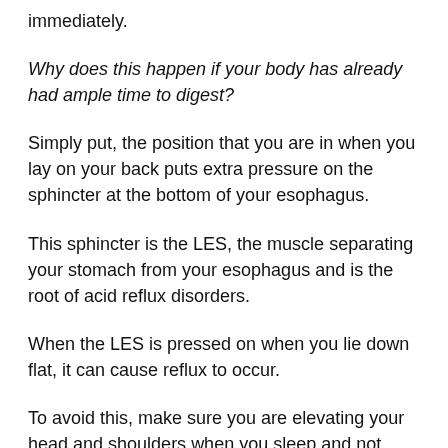immediately.
Why does this happen if your body has already had ample time to digest?
Simply put, the position that you are in when you lay on your back puts extra pressure on the sphincter at the bottom of your esophagus.
This sphincter is the LES, the muscle separating your stomach from your esophagus and is the root of acid reflux disorders.
When the LES is pressed on when you lie down flat, it can cause reflux to occur.
To avoid this, make sure you are elevating your head and shoulders when you sleep and not simply laying flat.